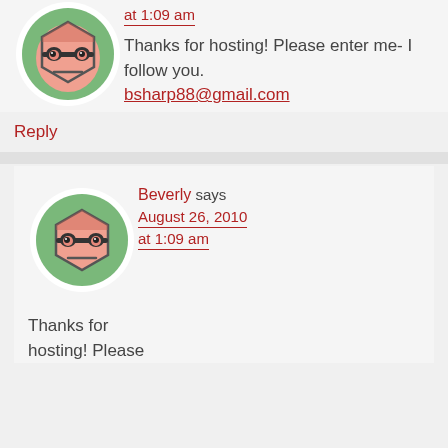at 1:09 am
Thanks for hosting! Please enter me- I follow you. bsharp88@gmail.com
Reply
[Figure (illustration): Cartoon avatar: hexagonal robot/character with green circular background, glasses, and pink face, used as user profile image]
Beverly says August 26, 2010 at 1:09 am
Thanks for hosting! Please